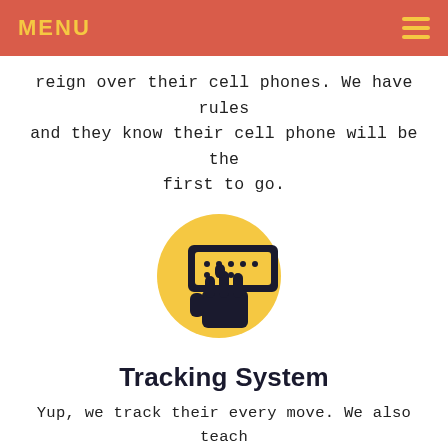MENU
reign over their cell phones. We have rules and they know their cell phone will be the first to go.
[Figure (illustration): Icon of a hand touching/swiping a phone or card reader, with a yellow circle background. Dark navy and yellow color scheme.]
Tracking System
Yup, we track their every move. We also teach them what to do in the event of the unthinkable. You can never be too prepared. Have fun with drills, draw escape plans, set meeting places, create a keyword. Personalize your family's plan!